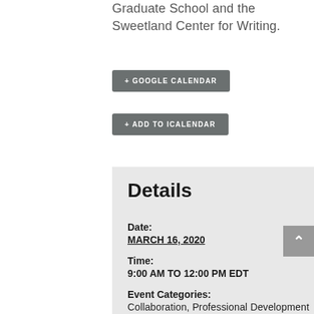Graduate School and the Sweetland Center for Writing.
+ GOOGLE CALENDAR
+ ADD TO ICALENDAR
Details
Date:
MARCH 16, 2020
Time:
9:00 AM TO 12:00 PM EDT
Event Categories:
Collaboration, Professional Development
Organizers